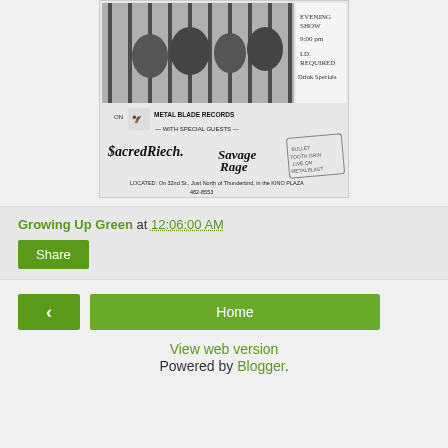[Figure (photo): Black and white concert flyer showing a band photo behind bars/gate, with text: 'ON METAL BLADE RECORDS', 'WITH SPECIAL GUESTS', 'Sacred Reich', 'Savage Rage', stamp text, 'EVENING SHOW', '9:00 pm', 'I.D. REQUIRED', 'DRINK SPECIALS', 'LOCATED: On 32nd St., Just North of Thunderbird, in the KINO PLAZA', '482-8553']
Growing Up Green at 12:06:00 AM
Share
< Home
View web version
Powered by Blogger.